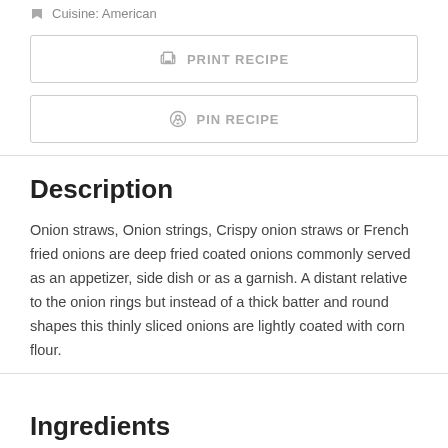🏳 Cuisine: American
PRINT RECIPE
PIN RECIPE
Description
Onion straws, Onion strings, Crispy onion straws or French fried onions are deep fried coated onions commonly served as an appetizer, side dish or as a garnish. A distant relative to the onion rings but instead of a thick batter and round shapes this thinly sliced onions are lightly coated with corn flour.
Ingredients
SCALE  1x  2x  3x